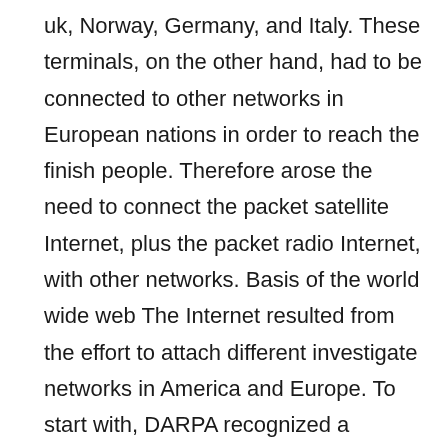uk, Norway, Germany, and Italy. These terminals, on the other hand, had to be connected to other networks in European nations in order to reach the finish people. Therefore arose the need to connect the packet satellite Internet, plus the packet radio Internet, with other networks. Basis of the world wide web The Internet resulted from the effort to attach different investigate networks in America and Europe. To start with, DARPA recognized a software to research the interconnection of “heterogeneous networks.” This software, termed Internetting, was determined by the newly released principle of open up architecture networking, where networks with defined conventional interfaces could be interconnected by “gateways.” A Operating demonstration on the